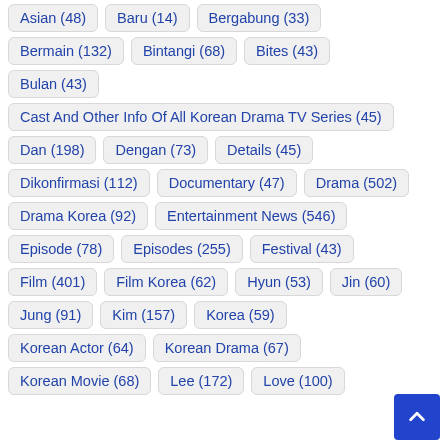Asian (48)
Baru (14)
Bergabung (33)
Bermain (132)
Bintangi (68)
Bites (43)
Bulan (43)
Cast And Other Info Of All Korean Drama TV Series (45)
Dan (198)
Dengan (73)
Details (45)
Dikonfirmasi (112)
Documentary (47)
Drama (502)
Drama Korea (92)
Entertainment News (546)
Episode (78)
Episodes (255)
Festival (43)
Film (401)
Film Korea (62)
Hyun (53)
Jin (60)
Jung (91)
Kim (157)
Korea (59)
Korean Actor (64)
Korean Drama (67)
Korean Movie (68)
Lee (172)
Love (100)